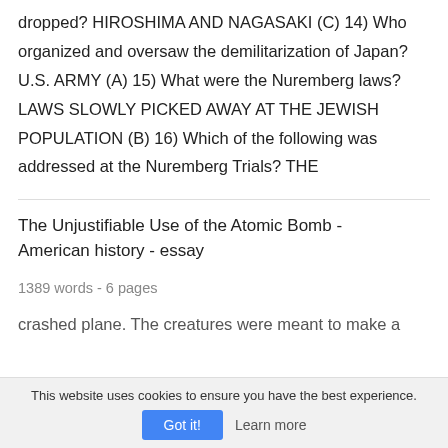dropped? HIROSHIMA AND NAGASAKI (C) 14) Who organized and oversaw the demilitarization of Japan? U.S. ARMY (A) 15) What were the Nuremberg laws? LAWS SLOWLY PICKED AWAY AT THE JEWISH POPULATION (B) 16) Which of the following was addressed at the Nuremberg Trials? THE
The Unjustifiable Use of the Atomic Bomb - American history - essay
1389 words - 6 pages
crashed plane. The creatures were meant to make a
This website uses cookies to ensure you have the best experience.